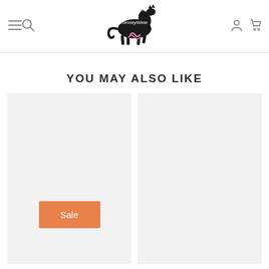WhinneyWear – navigation header with logo, hamburger menu, search, user account, and cart icons
YOU MAY ALSO LIKE
[Figure (other): Product card placeholder 1 with orange Sale badge]
[Figure (other): Product card placeholder 2, no badge]